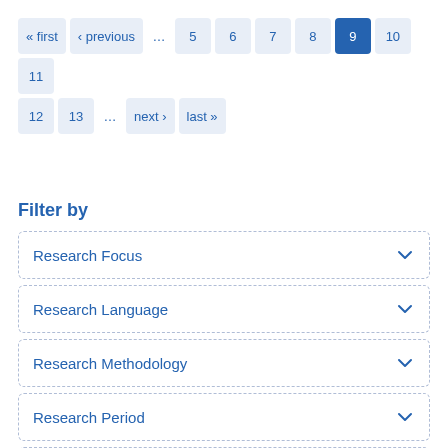Pagination: « first ‹ previous … 5 6 7 8 9 10 11 12 13 … next › last »
Filter by
Research Focus
Research Language
Research Methodology
Research Period
Research Region